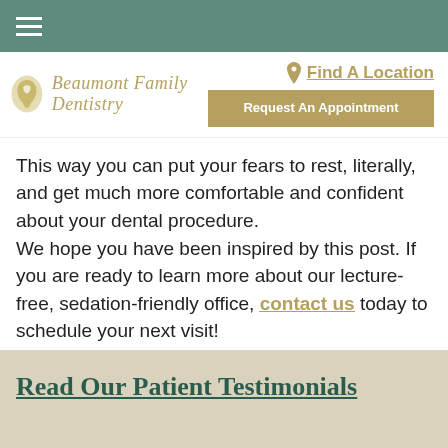Navigation bar with hamburger menu
[Figure (logo): Beaumont Family Dentistry logo with tooth/face silhouette icon and cursive script text]
Find A Location
Request An Appointment
This way you can put your fears to rest, literally, and get much more comfortable and confident about your dental procedure.
We hope you have been inspired by this post. If you are ready to learn more about our lecture-free, sedation-friendly office, contact us today to schedule your next visit!
Read Our Patient Testimonials